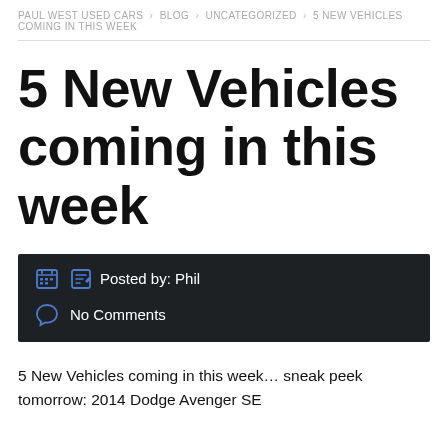PAUL WEST USED CARS > BLOG > UNCATEGORIZED > 5 NEW VEHICLES COMING IN THIS WEEK
5 New Vehicles coming in this week
Posted by: Phil
No Comments
5 New Vehicles coming in this week… sneak peek tomorrow: 2014 Dodge Avenger SE